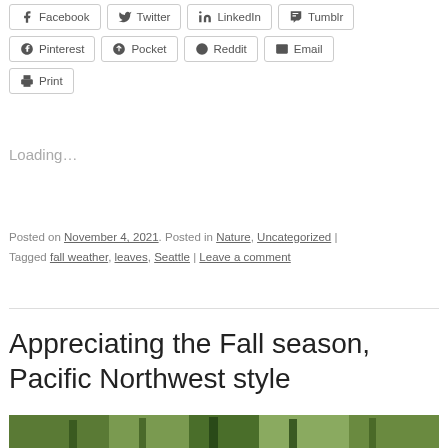Pinterest
Pocket
Reddit
Email
Print
Loading...
Posted on November 4, 2021. Posted in Nature, Uncategorized | Tagged fall weather, leaves, Seattle | Leave a comment
Appreciating the Fall season, Pacific Northwest style
[Figure (photo): Forest scene with tall trees showing fall foliage in Pacific Northwest style]